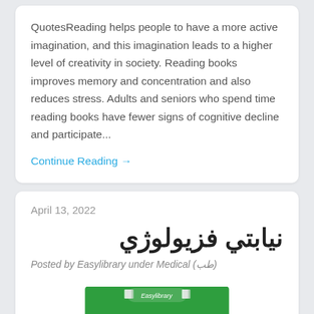QuotesReading helps people to have a more active imagination, and this imagination leads to a higher level of creativity in society. Reading books improves memory and concentration and also reduces stress. Adults and seniors who spend time reading books have fewer signs of cognitive decline and participate...
Continue Reading →
April 13, 2022
نيابتي فزيولوژي
Posted by Easylibrary under Medical (طب)
[Figure (photo): Green book cover with Easylibrary logo, partially visible at bottom of page]